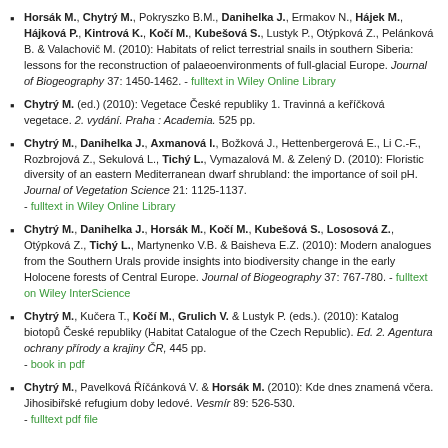Horsák M., Chytrý M., Pokryszko B.M., Danihelka J., Ermakov N., Hájek M., Hájková P., Kintrová K., Kočí M., Kubešová S., Lustyk P., Otýpková Z., Pelánková B. & Valachovič M. (2010): Habitats of relict terrestrial snails in southern Siberia: lessons for the reconstruction of palaeoenvironments of full-glacial Europe. Journal of Biogeography 37: 1450-1462. - fulltext in Wiley Online Library
Chytrý M. (ed.) (2010): Vegetace České republiky 1. Travinná a keříčková vegetace. 2. vydání. Praha : Academia. 525 pp.
Chytrý M., Danihelka J., Axmanová I., Božková J., Hettenbergerová E., Li C.-F., Rozbrojová Z., Sekulová L., Tichý L., Vymazalová M. & Zelený D. (2010): Floristic diversity of an eastern Mediterranean dwarf shrubland: the importance of soil pH. Journal of Vegetation Science 21: 1125-1137. - fulltext in Wiley Online Library
Chytrý M., Danihelka J., Horsák M., Kočí M., Kubešová S., Lososová Z., Otýpková Z., Tichý L., Martynenko V.B. & Baisheva E.Z. (2010): Modern analogues from the Southern Urals provide insights into biodiversity change in the early Holocene forests of Central Europe. Journal of Biogeography 37: 767-780. - fulltext on Wiley InterScience
Chytrý M., Kučera T., Kočí M., Grulich V. & Lustyk P. (eds.). (2010): Katalog biotopů České republiky (Habitat Catalogue of the Czech Republic). Ed. 2. Agentura ochrany přírody a krajiny ČR, 445 pp. - book in pdf
Chytrý M., Pavelková Říčánková V. & Horsák M. (2010): Kde dnes znamená včera. Jihosibiřské refugium doby ledové. Vesmír 89: 526-530. - fulltext pdf file